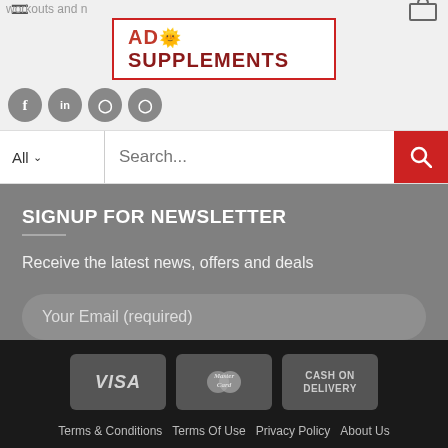workouts and nutrition header with AD SUPPLEMENTS logo, hamburger menu, cart icon, social icons
All  Search...
SIGNUP FOR NEWSLETTER
Receive the latest news, offers and deals
Your Email (required)
SIGN UP
[Figure (logo): Payment icons: VISA, MasterCard, CASH ON DELIVERY]
Terms & Conditions  Terms Of Use  Privacy Policy  About Us